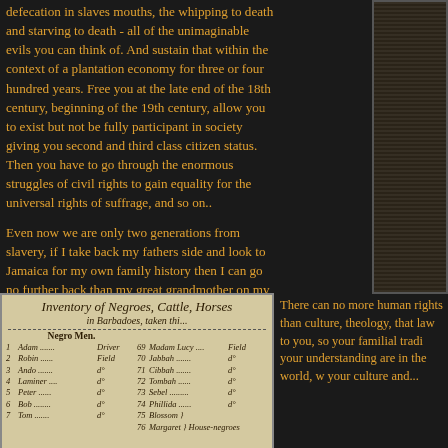defecation in slaves mouths, the whipping to death and starving to death - all of the unimaginable evils you can think of. And sustain that within the context of a plantation economy for three or four hundred years. Free you at the late end of the 18th century, beginning of the 19th century, allow you to exist but not be fully participant in society giving you second and third class citizen status. Then you have to go through the enormous struggles of civil rights to gain equality for the universal rights of suffrage, and so on..
Even now we are only two generations from slavery, if I take back my fathers side and look to Jamaica for my own family history then I can go no further back than my great grandmother on my fathers side. And the name that he has is the name of the plantation owner at the time.
[Figure (photo): Historical document: 'Inventory of Negroes, Cattle, Horses in Barbadoes, taken this...' listing Negro Men with names, numbers and roles including Adam (Driver), Robin (Field), Ando, Laminer, Peter, Bob, Tom, and women including Madam Lucy (Field), Jabbah, Cibbah, Tombah, Sebel, Phillida, Blossom, Margaret (House-negroes)]
There can no more human rights than culture, theology, that law to you, so your familial tradi your understanding are in the world, w your culture and...